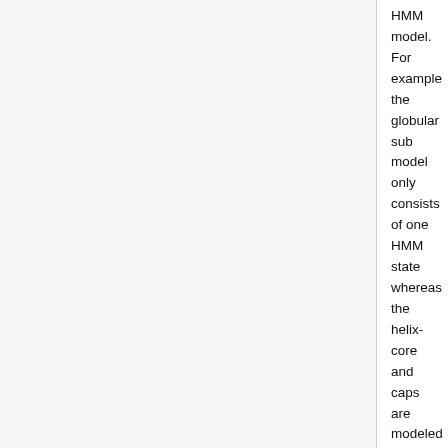HMM model. For example the globular sub model only consists of one HMM state whereas the helix-core and caps are modeled by multiple HMM states.
The 'grammar' is incorporated to this HMM model by defining the possible transitions from one sub model to another one. For example it is only possible to change from a cytoplasmic loop region to a cytoplasmic cap region and then to the helix core and after that either to non-cytoplasmic short loop or long non-cytoplasmic loop and so on.
Predicted features
This methods predicts the transmembrane helix and whether this part is in the cytoplasm (in) or outside of it (out).
Required information for the prediction
User who want to use it just need their amino acid sequence of their query sequence. The transmission and emission probabilities are derived from 160 transmembrane protein